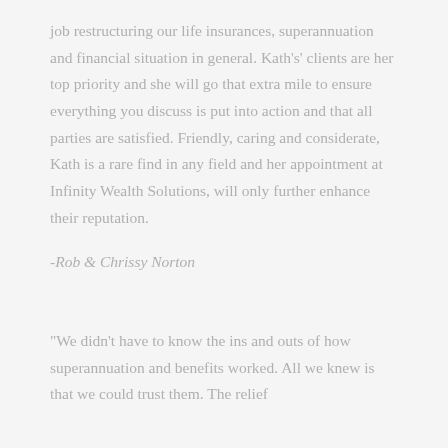job restructuring our life insurances, superannuation and financial situation in general. Kath's' clients are her top priority and she will go that extra mile to ensure everything you discuss is put into action and that all parties are satisfied. Friendly, caring and considerate, Kath is a rare find in any field and her appointment at Infinity Wealth Solutions, will only further enhance their reputation.
-Rob & Chrissy Norton
"We didn't have to know the ins and outs of how superannuation and benefits worked. All we knew is that we could trust them. The relief